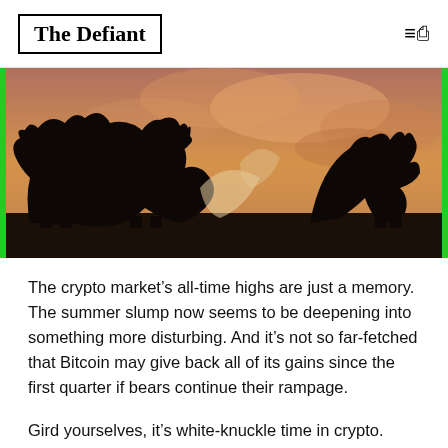The Defiant
[Figure (photo): Silhouette of a bull and bear fighting against a warm orange/golden cloudy sky background, representing the crypto market battle between bullish and bearish forces. Green border on left and right edges of image.]
The crypto market’s all-time highs are just a memory. The summer slump now seems to be deepening into something more disturbing. And it’s not so far-fetched that Bitcoin may give back all of its gains since the first quarter if bears continue their rampage.
Gird yourselves, it’s white-knuckle time in crypto.